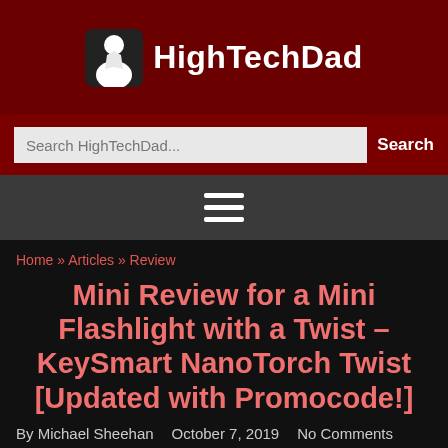HighTechDad
Search HighTechDad...  Search
[Figure (other): Hamburger menu icon (three horizontal lines)]
Home » Articles » Review
Mini Review for a Mini Flashlight with a Twist – KeySmart NanoTorch Twist [Updated with Promocode!]
By Michael Sheehan   October 7, 2019   No Comments